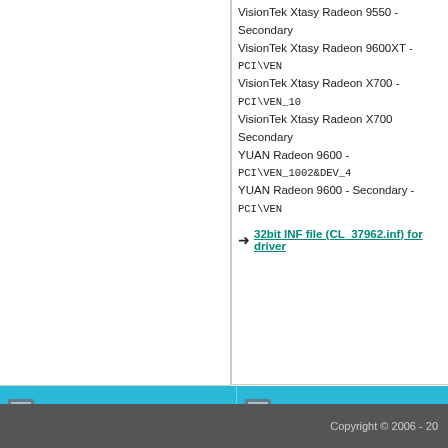VisionTek Xtasy Radeon 9550 - Secondary
VisionTek Xtasy Radeon 9600XT - PCI\VEN
VisionTek Xtasy Radeon X700 - PCI\VEN_10
VisionTek Xtasy Radeon X700 Secondary
YUAN Radeon 9600 - PCI\VEN_1002&DEV_4
YUAN Radeon 9600 - Secondary - PCI\VEN
→ 32bit INF file (CL_37962.inf) for driver
TOP 5 downloaded by version
TOP 5 dow
| VERSION | DATE | DOWNLOADS | VERSION |
| --- | --- | --- | --- |
| 14.9 / 14.301.1001.0 | 2014-09-29 | 140474× | AMD/ATI |
| 8.680.0.0000 | 2009-12-05 | 132765× | AMD/ATI Mobility Ra... |
| 13.1 / 8.970.100.700 | 2013-01-16 | 119151× | AMD/ATI Radeon HD |
| 13.1 / 8.970.100.700 | 2013-01-16 | 81229× | AMD/ATI Mobility Ra... |
| 14.4 / 14.100.0.0000 | 2014-04-23 | 77511× | AMD/ATI Radeon HD |
Copyright © 2006 - 20